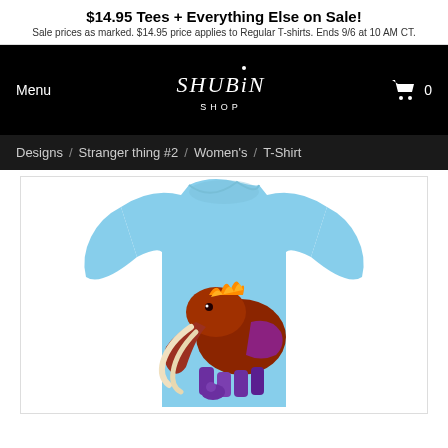$14.95 Tees + Everything Else on Sale! Sale prices as marked. $14.95 price applies to Regular T-shirts. Ends 9/6 at 10 AM CT.
[Figure (screenshot): Shubin Shop navigation bar with Menu on left, Shubin Shop logo in center, and shopping cart with 0 items on right, on black background]
Designs / Stranger thing #2 / Women's / T-Shirt
[Figure (photo): Light blue women's t-shirt with a colorful cartoon mammoth/elephant creature design printed on the front center]